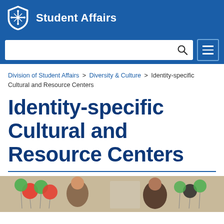Student Affairs
Division of Student Affairs > Diversity & Culture > Identity-specific Cultural and Resource Centers
Identity-specific Cultural and Resource Centers
[Figure (photo): Photo of students at an event with green, orange and dark balloons in background]